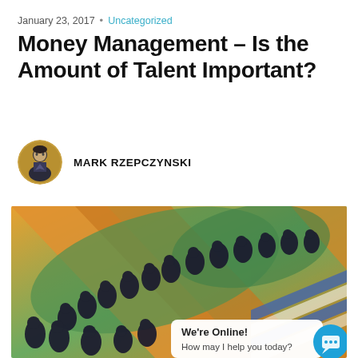January 23, 2017 · Uncategorized
Money Management – Is the Amount of Talent Important?
MARK RZEPCZYNSKI
[Figure (photo): Futurist-style painting showing a crowd of figures in motion with swirling diagonal lines in orange, green, and dark blue tones. A chat widget overlay reads: We're Online! How may I help you today?]